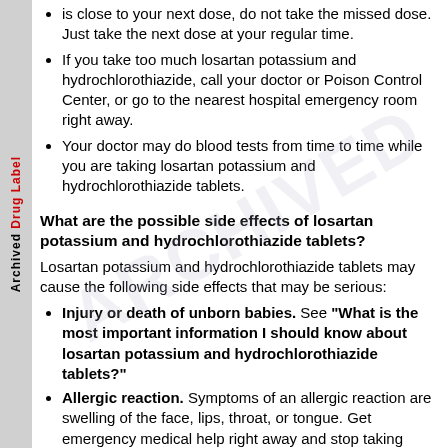is close to your next dose, do not take the missed dose. Just take the next dose at your regular time.
If you take too much losartan potassium and hydrochlorothiazide, call your doctor or Poison Control Center, or go to the nearest hospital emergency room right away.
Your doctor may do blood tests from time to time while you are taking losartan potassium and hydrochlorothiazide tablets.
What are the possible side effects of losartan potassium and hydrochlorothiazide tablets?
Losartan potassium and hydrochlorothiazide tablets may cause the following side effects that may be serious:
Injury or death of unborn babies. See "What is the most important information I should know about losartan potassium and hydrochlorothiazide tablets?"
Allergic reaction. Symptoms of an allergic reaction are swelling of the face, lips, throat, or tongue. Get emergency medical help right away and stop taking losartan potassium and hydrochlorothiazide tablets.
Low blood pressure (hypotension). Low blood pressure